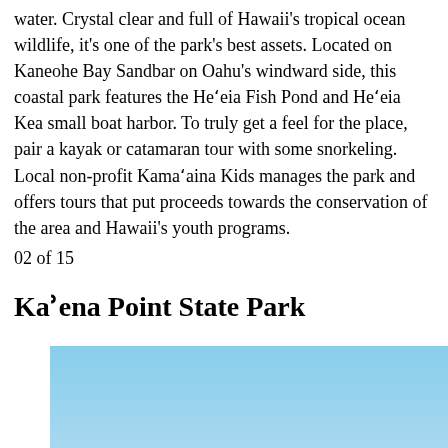water. Crystal clear and full of Hawaii's tropical ocean wildlife, it's one of the park's best assets. Located on Kaneohe Bay Sandbar on Oahu's windward side, this coastal park features the He'eia Fish Pond and He'eia Kea small boat harbor. To truly get a feel for the place, pair a kayak or catamaran tour with some snorkeling. Local non-profit Kama'aina Kids manages the park and offers tours that put proceeds towards the conservation of the area and Hawaii's youth programs.
02 of 15
Kaʾena Point State Park
[Figure (photo): Photograph of Ka'ena Point State Park showing blue sky and ocean.]